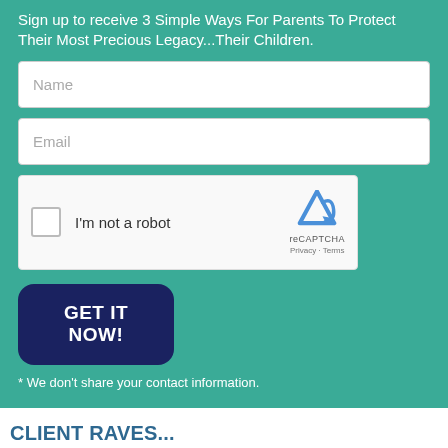Sign up to receive 3 Simple Ways For Parents To Protect Their Most Precious Legacy...Their Children.
[Figure (screenshot): Web form with Name input field]
[Figure (screenshot): Web form with Email input field]
[Figure (screenshot): reCAPTCHA widget with 'I'm not a robot' checkbox]
[Figure (screenshot): GET IT NOW! button in dark navy rounded rectangle]
* We don't share your contact information.
CLIENT RAVES...
Loading Quotes...